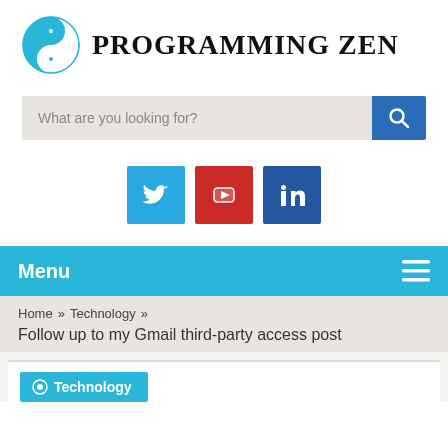[Figure (logo): Programming Zen website logo with yin-yang icon in blue and site name in large serif uppercase text]
[Figure (screenshot): Search bar with placeholder text 'What are you looking for?' and blue search button with magnifying glass icon]
[Figure (infographic): Social media icons: Twitter (blue), YouTube (red), LinkedIn (dark blue)]
Menu
Home » Technology » Follow up to my Gmail third-party access post
[Figure (screenshot): Partial article card with Technology tag button in cyan blue]